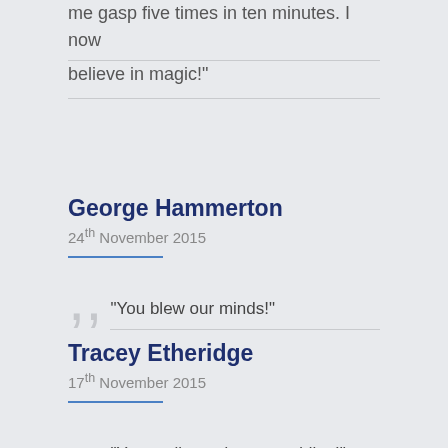me gasp five times in ten minutes. I now believe in magic!"
George Hammerton
24th November 2015
"You blew our minds!"
Tracey Etheridge
17th November 2015
"You really made our wedding!"